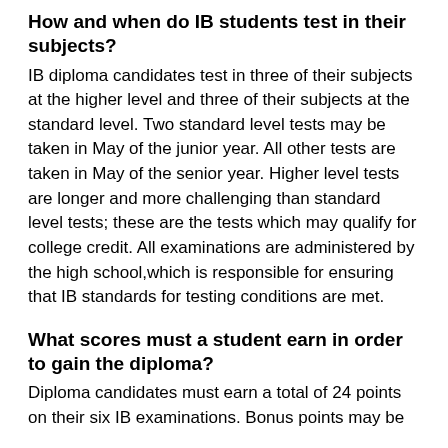How and when do IB students test in their subjects?
IB diploma candidates test in three of their subjects at the higher level and three of their subjects at the standard level. Two standard level tests may be taken in May of the junior year. All other tests are taken in May of the senior year. Higher level tests are longer and more challenging than standard level tests; these are the tests which may qualify for college credit. All examinations are administered by the high school,which is responsible for ensuring that IB standards for testing conditions are met.
What scores must a student earn in order to gain the diploma?
Diploma candidates must earn a total of 24 points on their six IB examinations. Bonus points may be